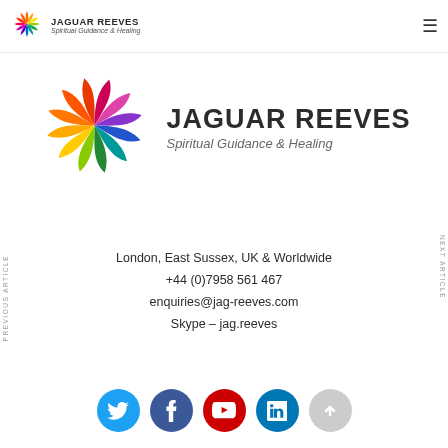JAGUAR REEVES Spiritual Guidance & Healing
[Figure (logo): Jaguar Reeves colorful pinwheel/flower logo large, with text JAGUAR REEVES and Spiritual Guidance & Healing]
London, East Sussex, UK & Worldwide
+44 (0)7958 561 467
enquiries@jag-reeves.com
Skype – jag.reeves
[Figure (infographic): Social media icons: Twitter (blue), Facebook (dark blue), YouTube (red), LinkedIn (blue), scroll-up button (grey)]